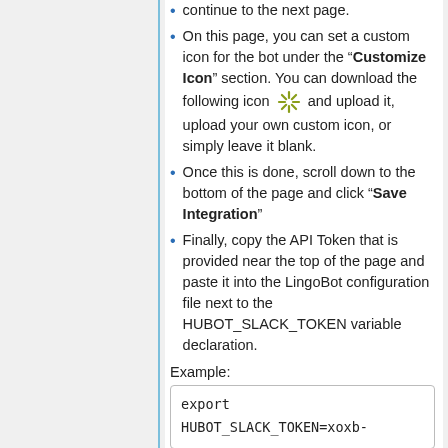continue to the next page.
On this page, you can set a custom icon for the bot under the "Customize Icon" section. You can download the following icon [icon] and upload it, upload your own custom icon, or simply leave it blank.
Once this is done, scroll down to the bottom of the page and click "Save Integration"
Finally, copy the API Token that is provided near the top of the page and paste it into the LingoBot configuration file next to the HUBOT_SLACK_TOKEN variable declaration.
Example:
export
HUBOT_SLACK_TOKEN=xoxb-